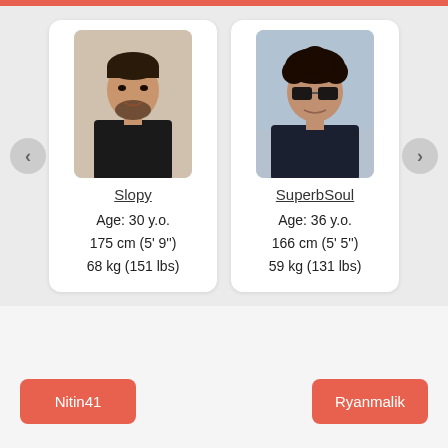[Figure (screenshot): Dating website profile carousel showing two profiles: Slopy (Age: 30 y.o., 175 cm (5' 9''), 68 kg (151 lbs)) and SuperbSoul (Age: 36 y.o., 166 cm (5' 5''), 59 kg (131 lbs)) with navigation arrows]
Slopy
Age: 30 y.o.
175 cm (5' 9'')
68 kg (151 lbs)
SuperbSoul
Age: 36 y.o.
166 cm (5' 5'')
59 kg (131 lbs)
Nitin41
Ryanmalik
Loveawake did not do background checks of AnthonyTariq and does not manually screen every profile from Islamabad, Pakistan. We run a software dedicated to keeping Loveawake safe from